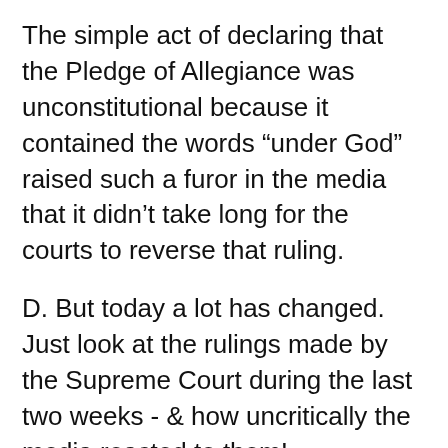The simple act of declaring that the Pledge of Allegiance was unconstitutional because it contained the words “under God” raised such a furor in the media that it didn’t take long for the courts to reverse that ruling.
D. But today a lot has changed. Just look at the rulings made by the Supreme Court during the last two weeks - & how uncritically the media reacted to them!
ILL. How about what happened in Texas just this last week! The Texas Legislature was deciding whether to limit late-term abortions. And outside of their building pro-life & pro-abortion groups were carrying signs.